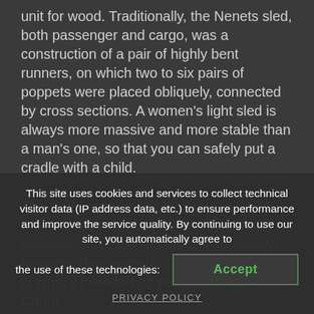unit for wood. Traditionally, the Nenets sled, both passenger and cargo, was a construction of a pair of highly bent runners, on which two to six pairs of poppets were placed obliquely, connected by cross sections. A women's light sled is always more massive and more stable than a man's one, so that you can safely put a cradle with a child.
The sled (narta) made by Yaptune could transport its owner across the tundra on reindeer, since the Nenets still massively preserve their nomadic way of life, but was originally intended for evocaine in the Main Chum...
This site uses cookies and services to collect technical visitor data (IP address data, etc.) to ensure performance and improve the service quality. By continuing to use our site, you automatically agree to the use of these technologies:
Accept
PRIVACY POLICY